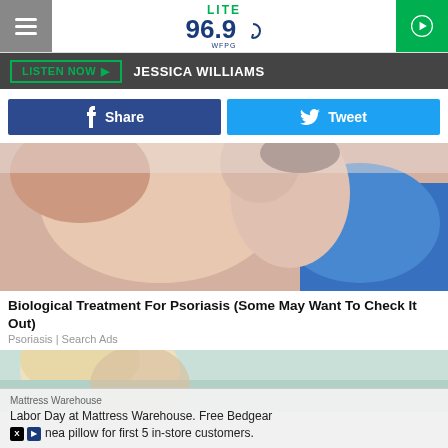LITE 96.9 WFPG
LISTEN NOW ▶  JESSICA WILLIAMS
f Share   🐦 Tweet
[Figure (photo): Woman in blue top examining her underarm, psoriasis-related medical photo]
Biological Treatment For Psoriasis (Some May Want To Check It Out)
Psoriasis | Search Ads
[Figure (photo): Blonde woman in medical/spa setting, partial view]
Mattress Warehouse
Labor Day at Mattress Warehouse. Free Bedgear
nea pillow for first 5 in-store customers.